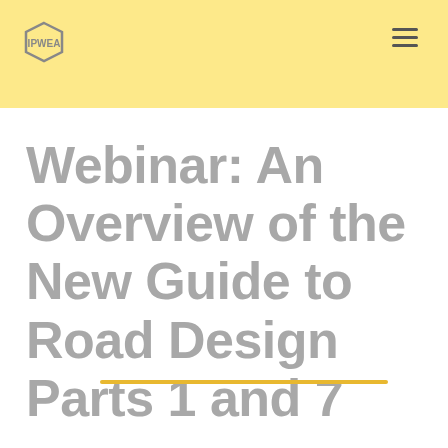Webinar: An Overview of the New Guide to Road Design Parts 1 and 7